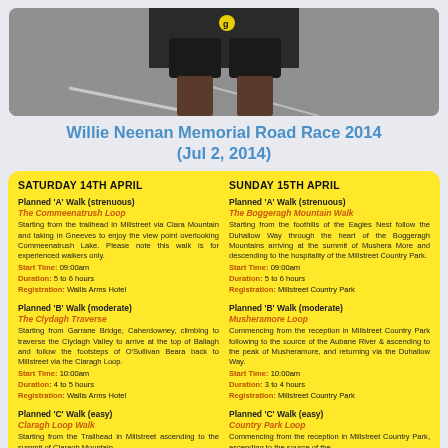[Figure (photo): Photo of a runner's legs/lower body on a road, wearing black shorts and running shoes]
Willie Neenan Memorial Road Race 2014
(Jul 2, 2014)
SATURDAY 14TH APRIL
Planned 'A' Walk (strenuous)
The Commeenatrush Loop
Starting from the trailhead in Millstreet via Clara Mountain and taking in Gneeves to enjoy the view point overlooking Commeenatrush Lake. Please note this walk is for experienced walkers only.
Start Time: 09:00am
Duration: 5 to 6 hours
Registration: Wallis Arms Hotel
Planned 'B' Walk (moderate)
The Clydagh Traverse
Starting from Garrane Bridge, Caherdowney, climbing to traverse the Clydagh Valley to arrive at the top of Ballagh and follow the footsteps of O'Sullivan Beara back to Millstreet via the Claragh Loop.
Start Time: 10:00am
Duration: 4 to 5 hours
Registration: Wallis Arms Hotel
Planned 'C' Walk (easy)
Claragh Loop Walk
Starting from the Trailhead in Millstreet ascending to the summit of Claragh Mountain
SUNDAY 15TH APRIL
Planned 'A' Walk (strenuous)
The Boggeragh Mountain Walk
Starting from the foothills of the Eagles Nest follow the Duhallow Way through the heart of the Boggeragh Mountains arriving at the summit of Mushera More and descending to the hospitality of the Millstreet Country Park.
Start Time: 09:00am
Duration: 5 to 6 hours
Registration: Millstreet Country Park
Planned 'B' Walk (moderate)
Musheramore Loop
Commencing from the reception in Millstreet Country Park following to the source of the Aubane River & ascending to the peak of Musheramore, and returning via the Duhallow Way.
Start Time: 10:00am
Duration: 3 to 4 hours
Registration: Millstreet Country Park
Planned 'C' Walk (easy)
Country Park Loop
Commencing from the reception in Millstreet Country Park, ascending to the source of the